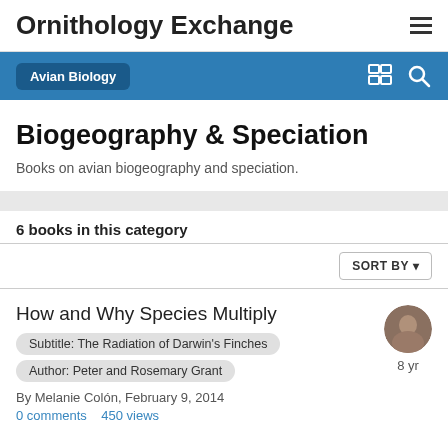Ornithology Exchange
Avian Biology
Biogeography & Speciation
Books on avian biogeography and speciation.
6 books in this category
SORT BY
How and Why Species Multiply
Subtitle: The Radiation of Darwin's Finches
Author: Peter and Rosemary Grant
By Melanie Colón, February 9, 2014
0 comments   450 views
8 yr